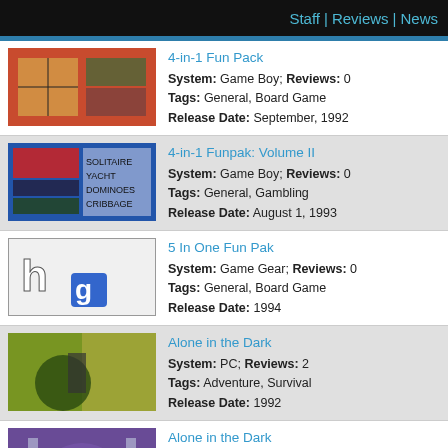Staff | Reviews | News
4-in-1 Fun Pack
System: Game Boy; Reviews: 0
Tags: General, Board Game
Release Date: September, 1992
4-in-1 Funpak: Volume II
System: Game Boy; Reviews: 0
Tags: General, Gambling
Release Date: August 1, 1993
5 In One Fun Pak
System: Game Gear; Reviews: 0
Tags: General, Board Game
Release Date: 1994
Alone in the Dark
System: PC; Reviews: 2
Tags: Adventure, Survival
Release Date: 1992
Alone in the Dark
System: 3DO; Reviews: 0
Tags: Action, Horror
Release Date: 1993
Alone in the Dark 2
System: PC; Reviews: 2
Tags: Adventure, Survival